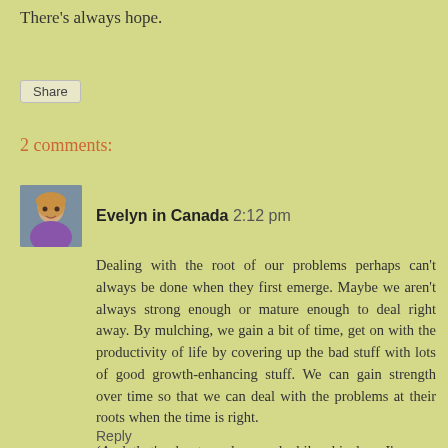There's always hope.
Share
2 comments:
[Figure (photo): Avatar photo of a smiling blonde woman]
Evelyn in Canada 2:12 pm
Dealing with the root of our problems perhaps can't always be done when they first emerge. Maybe we aren't always strong enough or mature enough to deal right away. By mulching, we gain a bit of time, get on with the productivity of life by covering up the bad stuff with lots of good growth-enhancing stuff. We can gain strength over time so that we can deal with the problems at their roots when the time is right.
(And that's about as deep and philosphical as I'm ever likely to get.. :-)
Reply